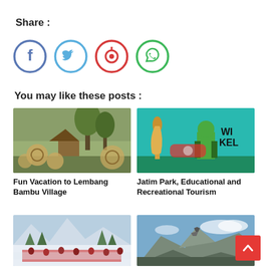Share :
[Figure (illustration): Social share icons: Facebook (blue circle), Twitter (light blue circle), Pinterest (red circle), WhatsApp (green circle)]
You may like these posts :
[Figure (photo): Lembang Bambu Village scenic outdoor photo with bamboo installations and trees]
Fun Vacation to Lembang Bambu Village
[Figure (photo): Jatim Park with teal background, Hulk statue and giraffe entrance decorations]
Jatim Park, Educational and Recreational Tourism
[Figure (photo): Snow scene with crowd of tourists at a snowy mountain resort]
[Figure (photo): Mountain landscape with blue sky and rocky peaks]